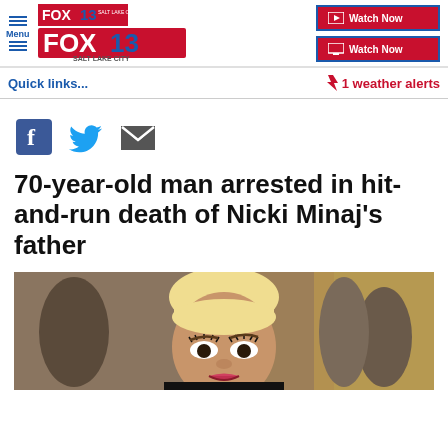FOX 13 Salt Lake City
Quick links...
1 weather alerts
[Figure (other): Social share icons: Facebook, Twitter, Email]
70-year-old man arrested in hit-and-run death of Nicki Minaj's father
[Figure (photo): Photo of Nicki Minaj at an event, blonde hair, heavy makeup, crowds in background]